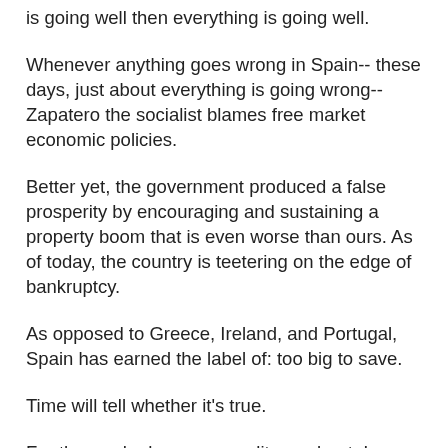is going well then everything is going well.
Whenever anything goes wrong in Spain-- these days, just about everything is going wrong-- Zapatero the socialist blames free market economic policies.
Better yet, the government produced a false prosperity by encouraging and sustaining a property boom that is even worse than ours. As of today, the country is teetering on the edge of bankruptcy.
As opposed to Greece, Ireland, and Portugal, Spain has earned the label of: too big to save.
Time will tell whether it's true.
For those who have a more literary bent, I am also happy to report that Spain is also the home of the fictional character whose exploits and derring-do gave us the expression: “tilting at windmills.”
Of course, I am speaking of Don Quixote, the central